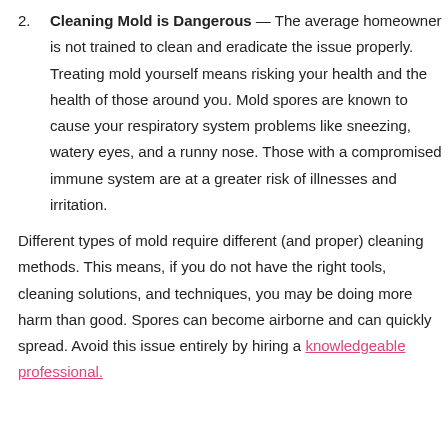2. Cleaning Mold is Dangerous — The average homeowner is not trained to clean and eradicate the issue properly. Treating mold yourself means risking your health and the health of those around you. Mold spores are known to cause your respiratory system problems like sneezing, watery eyes, and a runny nose. Those with a compromised immune system are at a greater risk of illnesses and irritation.
Different types of mold require different (and proper) cleaning methods. This means, if you do not have the right tools, cleaning solutions, and techniques, you may be doing more harm than good. Spores can become airborne and can quickly spread. Avoid this issue entirely by hiring a knowledgeable professional.